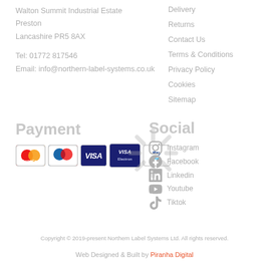Walton Summit Industrial Estate
Preston
Lancashire PR5 8AX
Tel: 01772 817546
Email: info@northern-label-systems.co.uk
Delivery
Returns
Contact Us
Terms & Conditions
Privacy Policy
Cookies
Sitemap
Payment
[Figure (other): Payment method icons: Mastercard, Maestro, Visa, Visa Electron, PayPal]
Social
Instagram
Facebook
Linkedin
Youtube
Tiktok
Copyright © 2019-present Northern Label Systems Ltd. All rights reserved.
Web Designed & Built by Piranha Digital